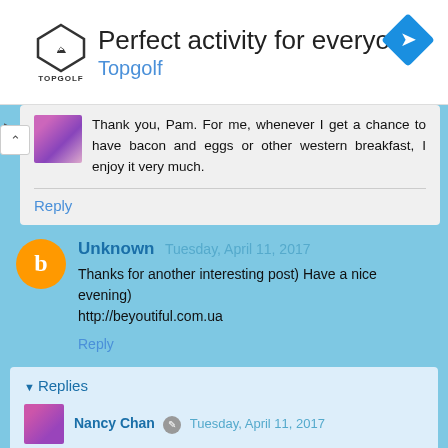[Figure (screenshot): Advertisement banner for Topgolf with logo, headline 'Perfect activity for everyone', subtext 'Topgolf', and a blue diamond arrow icon]
Thank you, Pam. For me, whenever I get a chance to have bacon and eggs or other western breakfast, I enjoy it very much.
Reply
Unknown Tuesday, April 11, 2017
Thanks for another interesting post) Have a nice evening) http://beyoutiful.com.ua
Reply
▾ Replies
Nancy Chan Tuesday, April 11, 2017